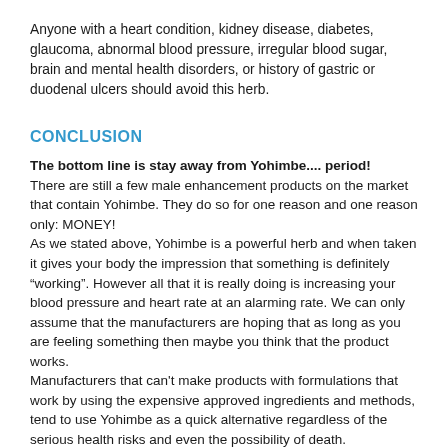Anyone with a heart condition, kidney disease, diabetes, glaucoma, abnormal blood pressure, irregular blood sugar, brain and mental health disorders, or history of gastric or duodenal ulcers should avoid this herb.
CONCLUSION
The bottom line is stay away from Yohimbe.... period! There are still a few male enhancement products on the market that contain Yohimbe. They do so for one reason and one reason only: MONEY!
As we stated above, Yohimbe is a powerful herb and when taken it gives your body the impression that something is definitely “working”. However all that it is really doing is increasing your blood pressure and heart rate at an alarming rate. We can only assume that the manufacturers are hoping that as long as you are feeling something then maybe you think that the product works.
Manufacturers that can't make products with formulations that work by using the expensive approved ingredients and methods, tend to use Yohimbe as a quick alternative regardless of the serious health risks and even the possibility of death.
Some products that contain Yohimbe that can be found marketed around the internet are: Extagen, Xytomax, Endowmax and Xanogen. Stay clear of these brands.